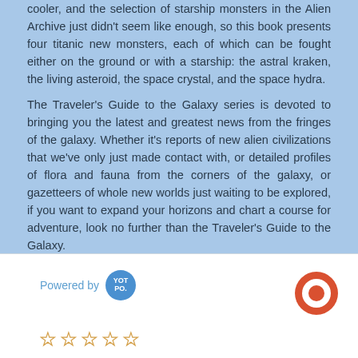cooler, and the selection of starship monsters in the Alien Archive just didn't seem like enough, so this book presents four titanic new monsters, each of which can be fought either on the ground or with a starship: the astral kraken, the living asteroid, the space crystal, and the space hydra.
The Traveler's Guide to the Galaxy series is devoted to bringing you the latest and greatest news from the fringes of the galaxy. Whether it's reports of new alien civilizations that we've only just made contact with, or detailed profiles of flora and fauna from the corners of the galaxy, or gazetteers of whole new worlds just waiting to be explored, if you want to expand your horizons and chart a course for adventure, look no further than the Traveler's Guide to the Galaxy.
[Figure (logo): Powered by YotPo logo — blue circular badge with white text YOT PO.]
[Figure (logo): Orange circular chat bubble icon in bottom right corner.]
[Figure (other): Five empty star rating icons in orange/amber outline style.]